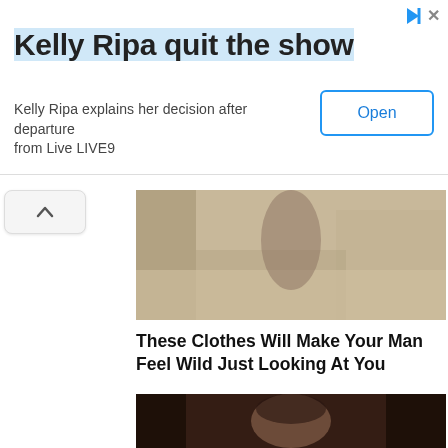[Figure (screenshot): Ad banner with title 'Kelly Ripa quit the show', description text, and Open button]
Kelly Ripa quit the show
Kelly Ripa explains her decision after departure from Live LIVE9
[Figure (photo): Photo of person bending down in room with furniture and rug, advertising clothing]
These Clothes Will Make Your Man Feel Wild Just Looking At You
[Figure (photo): Photo of young Asian woman looking at camera in dark setting]